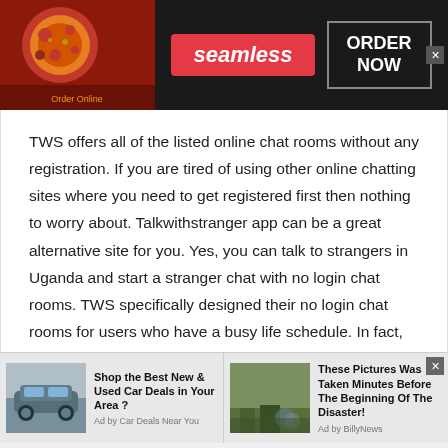[Figure (illustration): Seamless food delivery banner advertisement with pizza image on the left, 'seamless' red badge in center, and 'ORDER NOW' box on the right on dark background]
TWS offers all of the listed online chat rooms without any registration. If you are tired of using other online chatting sites where you need to get registered first then nothing to worry about. Talkwithstranger app can be a great alternative site for you. Yes, you can talk to strangers in Uganda and start a stranger chat with no login chat rooms. TWS specifically designed their no login chat rooms for users who have a busy life schedule. In fact, we all are busy and don't have enough time to fill up the
[Figure (illustration): Bottom ad bar with two sponsored content items: 'Shop the Best New & Used Car Deals in Your Area ?' (Ad by Car Deals Near You) and 'These Pictures Was Taken Minutes Before The Beginning Of The Disaster!' (Ad by BillyNews)]